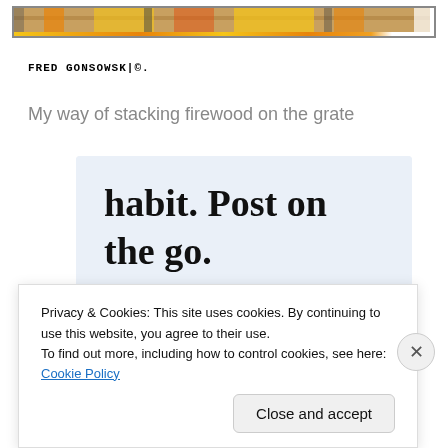[Figure (photo): Partial view of firewood/flames image at top of page, cropped]
FRED GONSOWSK|©.
My way of stacking firewood on the grate
[Figure (screenshot): WordPress app advertisement with text 'habit. Post on the go.' and 'GET THE APP' call to action with WordPress logo]
Privacy & Cookies: This site uses cookies. By continuing to use this website, you agree to their use.
To find out more, including how to control cookies, see here: Cookie Policy
Close and accept